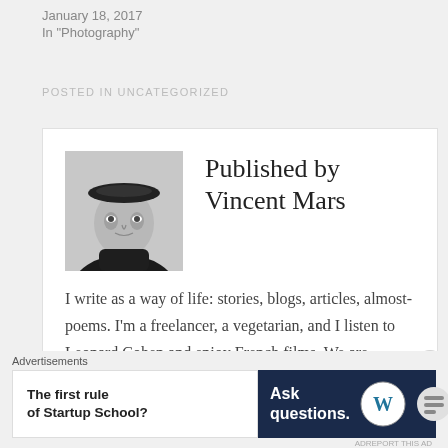January 18, 2017
In "Photography"
POSTED IN UNCATEGORIZED
Published by Vincent Mars
I write as a way of life: stories, blogs, articles, almost-poems. I'm a freelancer, a vegetarian, and I listen to Leonard Cohen and enjoy French films. We are
[Figure (photo): Black and white portrait photo of Vincent Mars wearing a dark turtleneck and beret-style hat]
Advertisements
[Figure (infographic): Advertisement banner: left side white with text 'The first rule of Startup School?', right side dark navy with text 'Ask questions.' and WordPress and other logos]